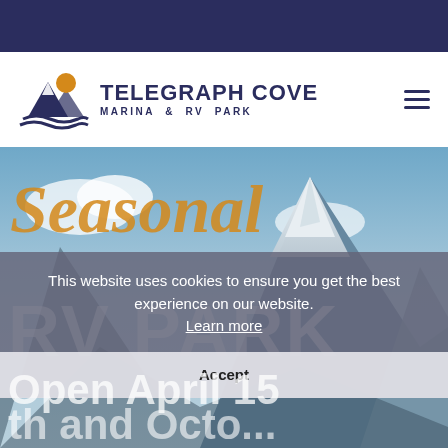[Figure (screenshot): Dark navy top navigation bar]
[Figure (logo): Telegraph Cove Marina & RV Park logo with mountain and sun icon]
TELEGRAPH COVE
MARINA & RV PARK
[Figure (photo): Snow-capped mountain peaks under blue sky hero image with overlaid text: Seasonal RV PARK Open April 15]
This website uses cookies to ensure you get the best experience on our website.
Learn more
Accept